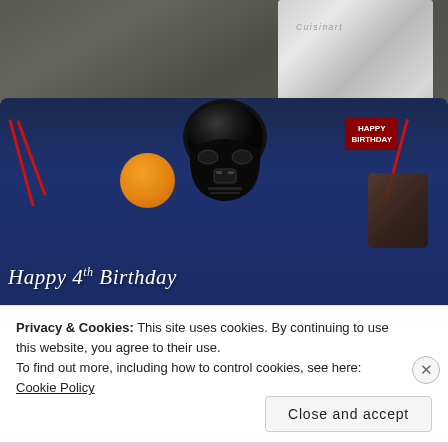[Figure (photo): A Star Wars themed birthday cake with a Darth Vader helmet figurine on top, decorated with blue frosting and Star Wars characters, reading 'Happy 4th Birthday'. A Cuisinart appliance is visible in the background on a granite countertop.]
Privacy & Cookies: This site uses cookies. By continuing to use this website, you agree to their use.
To find out more, including how to control cookies, see here: Cookie Policy